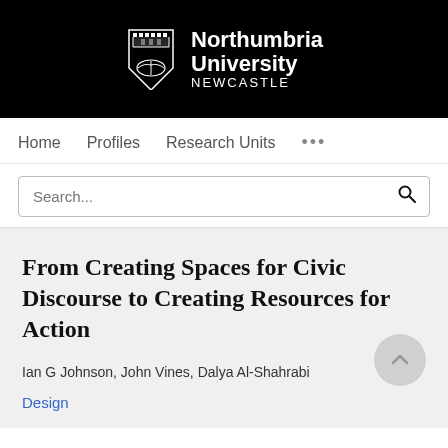[Figure (logo): Northumbria University Newcastle logo — shield crest on black background with white text]
Home   Profiles   Research Units   ...
Search...
From Creating Spaces for Civic Discourse to Creating Resources for Action
Ian G Johnson, John Vines, Dalya Al-Shahrabi
Design